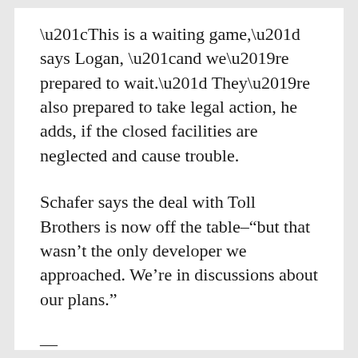“This is a waiting game,” says Logan, “and we’re prepared to wait.” They’re also prepared to take legal action, he adds, if the closed facilities are neglected and cause trouble.
Schafer says the deal with Toll Brothers is now off the table–“but that wasn’t the only developer we approached. We’re in discussions about our plans.”
—